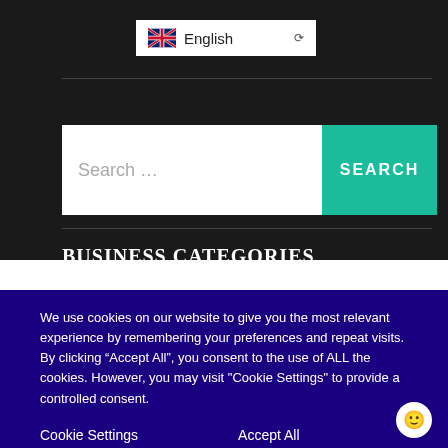[Figure (screenshot): Language selector dropdown showing UK flag and 'English' text with chevron]
[Figure (screenshot): Search bar with placeholder 'Search ...' and a teal 'SEARCH' button]
BUSINESS CATEGORIES
We use cookies on our website to give you the most relevant experience by remembering your preferences and repeat visits. By clicking “Accept All”, you consent to the use of ALL the cookies. However, you may visit "Cookie Settings" to provide a controlled consent.
Cookie Settings   Accept All